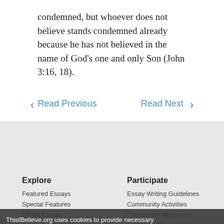condemned, but whoever does not believe stands condemned already because he has not believed in the name of God’s one and only Son (John 3:16, 18).
< Read Previous   Read Next >
Explore
Participate
Featured Essays
Special Features
1950s Essays
Browse by Theme
Search Essays
Essay Writing Guidelines
Community Activities
Community Resources
Houses of Worship
Educators
About
Essay Writing Guidelines
Educator Resources
About Us
Contact Us
ThisIBelieve.org uses cookies to provide necessary website functionality, improve your experience and analyze our traffic. By using our website, you agree to the use of cookies on this
Ok
Privacy · Terms